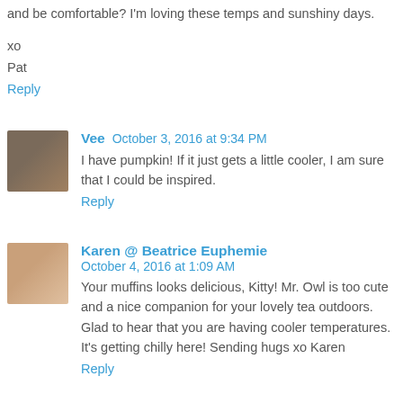and be comfortable? I'm loving these temps and sunshiny days.
xo
Pat
Reply
Vee  October 3, 2016 at 9:34 PM
I have pumpkin! If it just gets a little cooler, I am sure that I could be inspired.
Reply
Karen @ Beatrice Euphemie  October 4, 2016 at 1:09 AM
Your muffins looks delicious, Kitty! Mr. Owl is too cute and a nice companion for your lovely tea outdoors. Glad to hear that you are having cooler temperatures. It's getting chilly here! Sending hugs xo Karen
Reply